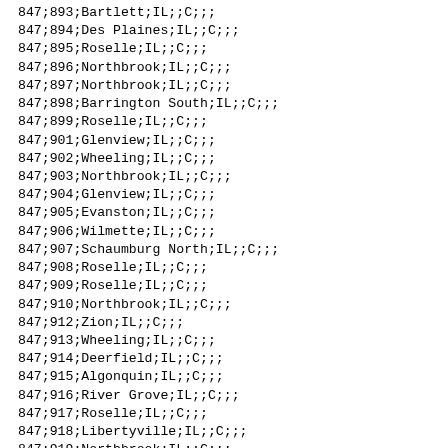| 847;893;Bartlett;IL;;C;;; |
| 847;894;Des Plaines;IL;;C;;; |
| 847;895;Roselle;IL;;C;;; |
| 847;896;Northbrook;IL;;C;;; |
| 847;897;Northbrook;IL;;C;;; |
| 847;898;Barrington South;IL;;C;;; |
| 847;899;Roselle;IL;;C;;; |
| 847;901;Glenview;IL;;C;;; |
| 847;902;Wheeling;IL;;C;;; |
| 847;903;Northbrook;IL;;C;;; |
| 847;904;Glenview;IL;;C;;; |
| 847;905;Evanston;IL;;C;;; |
| 847;906;Wilmette;IL;;C;;; |
| 847;907;Schaumburg North;IL;;C;;; |
| 847;908;Roselle;IL;;C;;; |
| 847;909;Roselle;IL;;C;;; |
| 847;910;Northbrook;IL;;C;;; |
| 847;912;Zion;IL;;C;;; |
| 847;913;Wheeling;IL;;C;;; |
| 847;914;Deerfield;IL;;C;;; |
| 847;915;Algonquin;IL;;C;;; |
| 847;916;River Grove;IL;;C;;; |
| 847;917;Roselle;IL;;C;;; |
| 847;918;Libertyville;IL;;C;;; |
| 847;919;Northbrook;IL;;C;;; |
| 847;920;Wilmette;IL;;C;;; |
| 847;921;Hickory Hills;IL;;C;;; |
| 847;922;Northbrook;IL;;C;;; |
| 847;923;Roselle;IL;;C;;; |
| 847;924;Northbrook;IL;;C;;; |